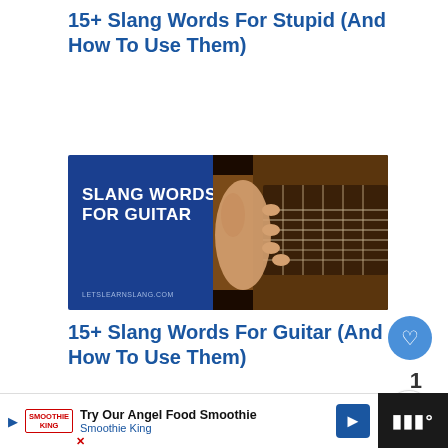15+ Slang Words For Stupid (And How To Use Them)
[Figure (photo): Blue card with white text 'SLANG WORDS FOR GUITAR' next to a photo of hands playing acoustic guitar. URL: LETSLEARNSLANG.COM]
15+ Slang Words For Guitar (And How To Use Them)
[Figure (photo): Blue card with white text 'SLANG WORDS FOR POTATO' next to a photo of potatoes]
WHAT'S NEXT → 30+ Slang Words for...
Try Our Angel Food Smoothie Smoothie King